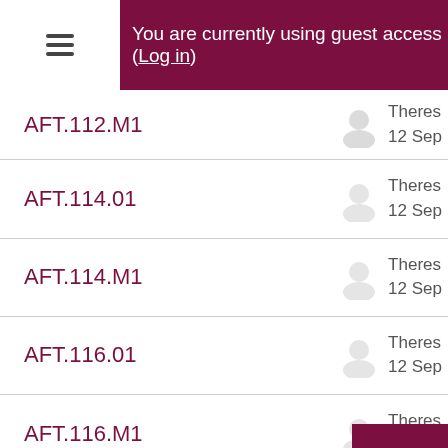You are currently using guest access (Log in)
AFT.112.M1 — Theresa, 12 Sep
AFT.114.01 — Theresa, 12 Sep
AFT.114.M1 — Theresa, 12 Sep
AFT.116.01 — Theresa, 12 Sep
AFT.116.M1 — Theresa, 12 Sep
AFT.130.M1 — Theresa, 12 Sep
AFT.140.M1 — Theresa, 12 Sep